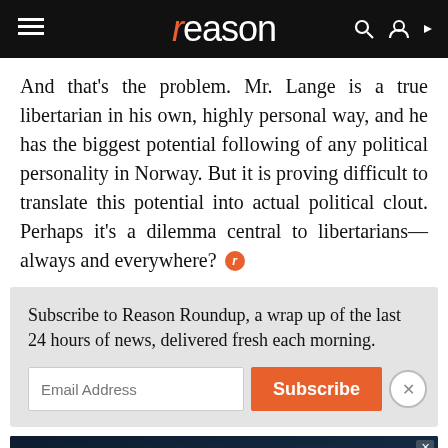reason
And that's the problem. Mr. Lange is a true libertarian in his own, highly personal way, and he has the biggest potential following of any political personality in Norway. But it is proving difficult to translate this potential into actual political clout. Perhaps it's a dilemma central to libertarians—always and everywhere?
Subscribe to Reason Roundup, a wrap up of the last 24 hours of news, delivered fresh each morning.
[Figure (screenshot): Disney Bundle advertisement banner with Hulu, Disney+, ESPN+ logos and 'GET THE DISNEY BUNDLE' call to action]
NEXT: Trends